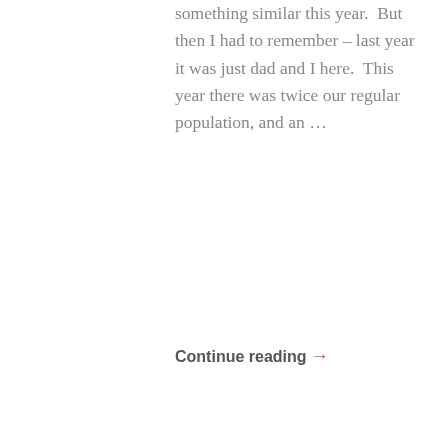something similar this year.  But then I had to remember – last year it was just dad and I here.  This year there was twice our regular population, and an …
Continue reading →
Categories: Family, Photography, Thankfuls • Tags: cooking, family, food, Life, thankful •
MINI OMELETS
CHRISTINA